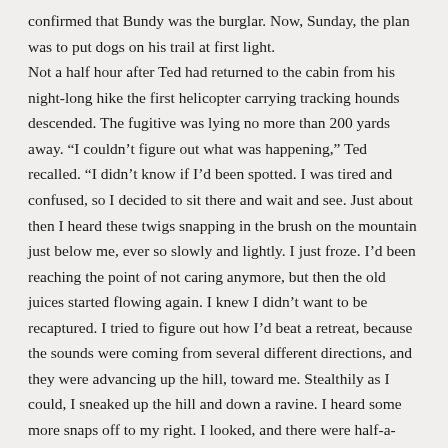confirmed that Bundy was the burglar. Now, Sunday, the plan was to put dogs on his trail at first light. Not a half hour after Ted had returned to the cabin from his night-long hike the first helicopter carrying tracking hounds descended. The fugitive was lying no more than 200 yards away. “I couldn’t figure out what was happening,” Ted recalled. “I didn’t know if I’d been spotted. I was tired and confused, so I decided to sit there and wait and see. Just about then I heard these twigs snapping in the brush on the mountain just below me, ever so slowly and lightly. I just froze. I’d been reaching the point of not caring anymore, but then the old juices started flowing again. I knew I didn’t want to be recaptured. I tried to figure out how I’d beat a retreat, because the sounds were coming from several different directions, and they were advancing up the hill, toward me. Stealthily as I could, I sneaked up the hill and down a ravine. I heard some more snaps off to my right. I looked, and there were half-a-dozen mule deer. Then I saw some more. They were all grazing up the hill toward me.”